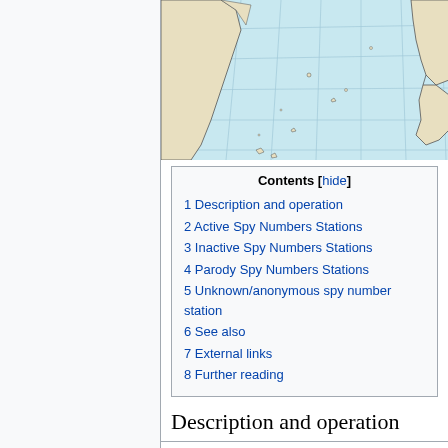[Figure (map): A map showing the North Atlantic Ocean region with landmasses in beige/tan color and ocean in light blue, with grid lines visible. Portions of North America and Europe/Africa are visible at the edges.]
Contents
1 Description and operation
2 Active Spy Numbers Stations
3 Inactive Spy Numbers Stations
4 Parody Spy Numbers Stations
5 Unknown/anonymous spy number station
6 See also
7 External links
8 Further reading
Description and operation
Number stations are shortwave transmissions from foreign intelligence agencies to spies in the field of foreign countries. Since the fact of operating a number station is technically a